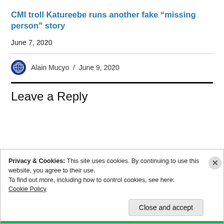CMI troll Katureebe runs another fake “missing person” story
June 7, 2020
Alain Mucyo / June 9, 2020
Leave a Reply
Privacy & Cookies: This site uses cookies. By continuing to use this website, you agree to their use.
To find out more, including how to control cookies, see here:
Cookie Policy
Close and accept